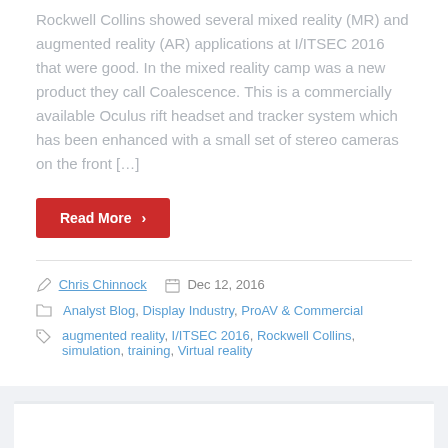Rockwell Collins showed several mixed reality (MR) and augmented reality (AR) applications at I/ITSEC 2016 that were good. In the mixed reality camp was a new product they call Coalescence. This is a commercially available Oculus rift headset and tracker system which has been enhanced with a small set of stereo cameras on the front […]
Read More ›
Chris Chinnock   Dec 12, 2016
Analyst Blog, Display Industry, ProAV & Commercial
augmented reality, I/ITSEC 2016, Rockwell Collins, simulation, training, Virtual reality